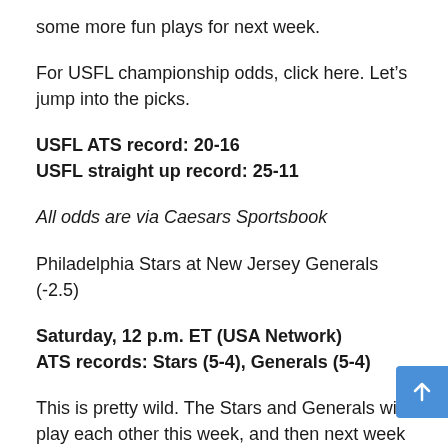some more fun plays for next week.
For USFL championship odds, click here. Let's jump into the picks.
USFL ATS record: 20-16
USFL straight up record: 25-11
All odds are via Caesars Sportsbook
Philadelphia Stars at New Jersey Generals (-2.5)
Saturday, 12 p.m. ET (USA Network)
ATS records: Stars (5-4), Generals (5-4)
This is pretty wild. The Stars and Generals will play each other this week, and then next week in the playoffs as well. The way I view it, head coaches Bart Andrus and Mike Riley won't want to give much away in terms of game-planning. Both teams should probably start their reserves and prepare for next week.